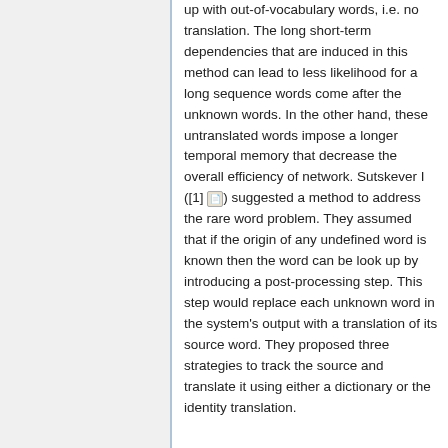up with out-of-vocabulary words, i.e. no translation. The long short-term dependencies that are induced in this method can lead to less likelihood for a long sequence words come after the unknown words. In the other hand, these untranslated words impose a longer temporal memory that decrease the overall efficiency of network. Sutskever I ([1] 🖼) suggested a method to address the rare word problem. They assumed that if the origin of any undefined word is known then the word can be look up by introducing a post-processing step. This step would replace each unknown word in the system's output with a translation of its source word. They proposed three strategies to track the source and translate it using either a dictionary or the identity translation.